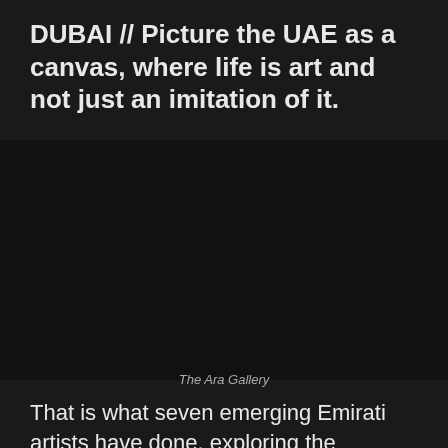DUBAI // Picture the UAE as a canvas, where life is art and not just an imitation of it.
[Figure (photo): Dark photograph of The Ara Gallery interior or artwork]
The Ara Gallery
That is what seven emerging Emirati artists have done, exploring the concept of their country as a work of art in an exhibition that opens next week in one of the emirate's newest galleries.